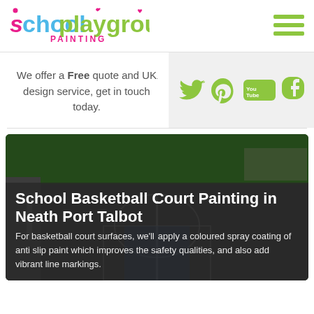[Figure (logo): School Playground Painting logo with blue 'school', green 'playground', pink 'PAINTING' text]
[Figure (infographic): Hamburger menu icon (three green horizontal lines)]
We offer a Free quote and UK design service, get in touch today.
[Figure (infographic): Social media icons: Twitter, Pinterest, YouTube, Tumblr in olive/green color on light grey background]
[Figure (photo): Basketball court with dark surface and white line markings, green fence in background]
School Basketball Court Painting in Neath Port Talbot
For basketball court surfaces, we'll apply a coloured spray coating of anti slip paint which improves the safety qualities, and also add vibrant line markings.